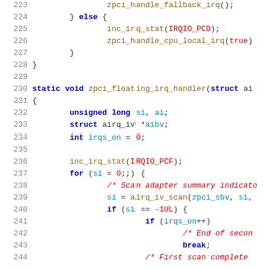[Figure (screenshot): Source code screenshot showing C code lines 223-244, featuring functions zpci_handle_fallback_irq, inc_irq_stat, zpci_handle_cpu_local_irq, and zpci_floating_irq_handler with variable declarations and a for loop]